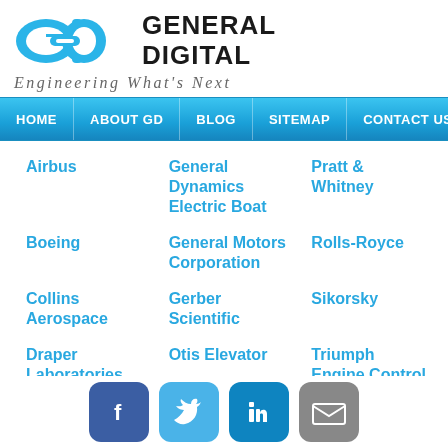[Figure (logo): General Digital logo with blue GD icon and bold black GENERAL DIGITAL text]
Engineering What's Next
HOME | ABOUT GD | BLOG | SITEMAP | CONTACT US
Airbus
General Dynamics Electric Boat
Pratt & Whitney
Boeing
General Motors Corporation
Rolls-Royce
Collins Aerospace
Gerber Scientific
Sikorsky
Draper Laboratories
Otis Elevator
Triumph Engine Control
[Figure (other): Social media buttons: Facebook, Twitter, LinkedIn, Email]